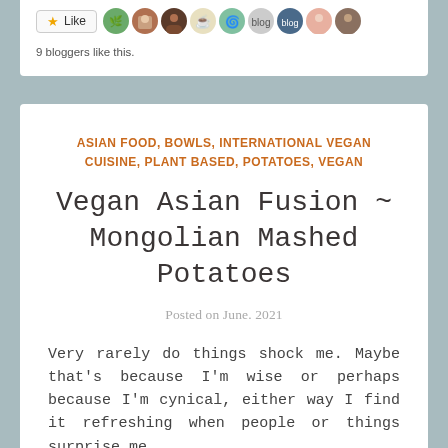[Figure (other): Like button with star icon and row of blogger avatar profile pictures]
9 bloggers like this.
ASIAN FOOD, BOWLS, INTERNATIONAL VEGAN CUISINE, PLANT BASED, POTATOES, VEGAN
Vegan Asian Fusion ~ Mongolian Mashed Potatoes
Posted on June. 2021
Very rarely do things shock me. Maybe that's because I'm wise or perhaps because I'm cynical, either way I find it refreshing when people or things surprise me.